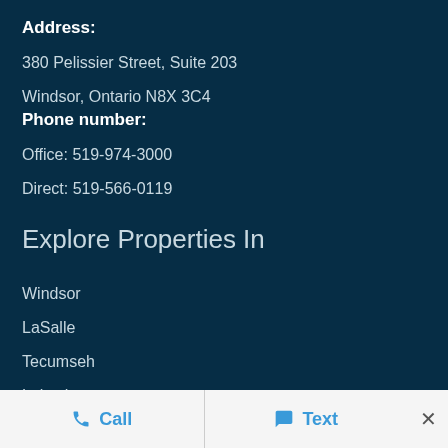Address:
380 Pelissier Street, Suite 203
Windsor, Ontario N8X 3C4
Phone number:
Office: 519-974-3000
Direct: 519-566-0119
Explore Properties In
Windsor
LaSalle
Tecumseh
Lakeshore
Amherstburg
Essex
Kingsville
Call   Text   ×